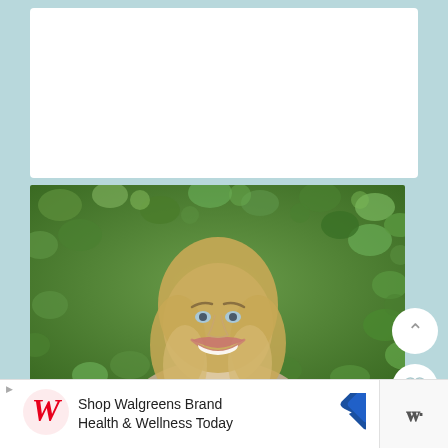[Figure (photo): Screenshot of a website/app showing a smiling blonde woman in front of a green leafy background, with UI overlay buttons (up chevron, heart, search), a white card area at top, and a Walgreens advertisement banner at the bottom reading 'Shop Walgreens Brand Health & Wellness Today']
Shop Walgreens Brand Health & Wellness Today